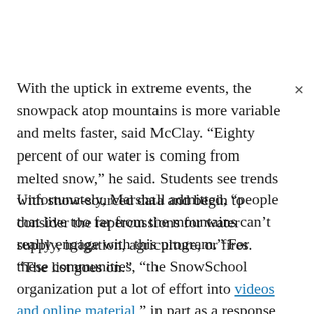With the uptick in extreme events, the snowpack atop mountains is more variable and melts faster, said McClay. “Eighty percent of our water is coming from melted snow,” he said. Students see trends with snow-sourced data and begin to consider the repercussions for water supply, irrigation, agriculture, or fires. “The list goes on.”
Unfortunately, Marshall admitted, “people that live too far from the mountains can’t really engage with this program.” For these communities, “the SnowSchool organization put a lot of effort into videos and online material,” in part as a response to travel restrictions imposed by the COVID-19